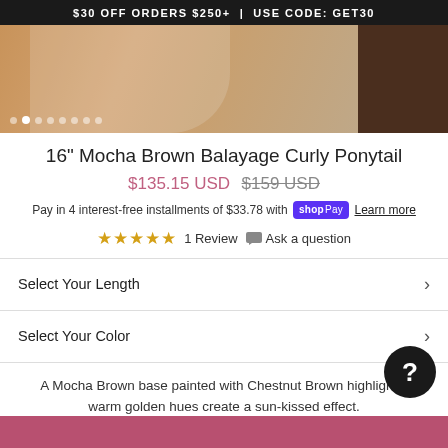$30 OFF ORDERS $250+ | USE CODE: GET30
[Figure (photo): Woman wearing white top with curly ponytail hair extension, brown background. Carousel dots visible at bottom left. Partial second image on right.]
16" Mocha Brown Balayage Curly Ponytail
$135.15 USD $159 USD
Pay in 4 interest-free installments of $33.78 with Shop Pay Learn more
★★★★★ 1 Review  Ask a question
Select Your Length
Select Your Color
A Mocha Brown base painted with Chestnut Brown highlights, warm golden hues create a sun-kissed effect.
Your order will ship the next business day.